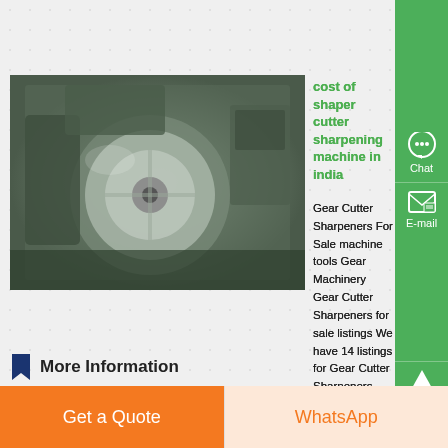[Figure (photo): Industrial shaper cutter sharpening machine, green/grey metallic machinery with circular grinding wheel, photographed in workshop setting]
cost of shaper cutter sharpening machine in india
Gear Cutter Sharpeners For Sale machine tools Gear Machinery Gear Cutter Sharpeners for sale listings We have 14 listings for Gear Cutter Sharpeners listed below Klingelnberg SNC 31 CNC 6 axis Hob Sharpening machine in excellent condition India photo Year 1997 Ryokuta Gear shaper cutter resharpener (re-grinding shaper cutter) RT-SPUR-200...
More Information